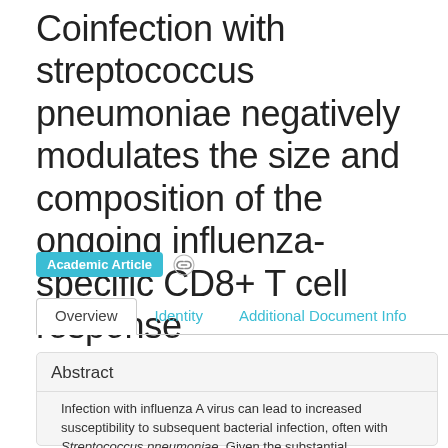Coinfection with streptococcus pneumoniae negatively modulates the size and composition of the ongoing influenza-specific CD8+ T cell response
Academic Article
Overview | Identity | Additional Document Info
Abstract
Infection with influenza A virus can lead to increased susceptibility to subsequent bacterial infection, often with Streptococcus pneumoniae. Given the substantial